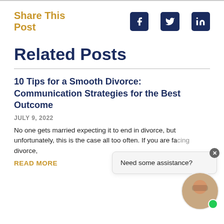Share This Post
Related Posts
10 Tips for a Smooth Divorce: Communication Strategies for the Best Outcome
JULY 9, 2022
No one gets married expecting it to end in divorce, but unfortunately, this is the case all too often. If you are facing divorce,
READ MORE